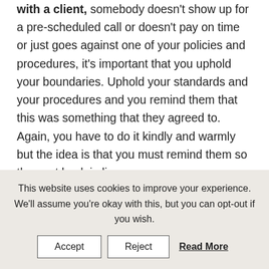with a client, somebody doesn't show up for a pre-scheduled call or doesn't pay on time or just goes against one of your policies and procedures, it's important that you uphold your boundaries. Uphold your standards and your procedures and you remind them that this was something that they agreed to. Again, you have to do it kindly and warmly but the idea is that you must remind them so they get back in line.

I'm going to leave you with a final tip. You
This website uses cookies to improve your experience. We'll assume you're okay with this, but you can opt-out if you wish. Accept Reject Read More